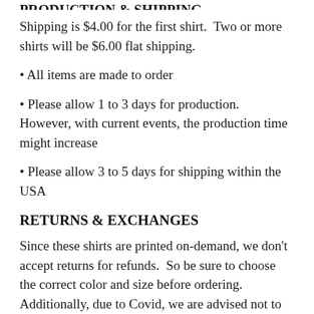PRODUCTION & SHIPPING
Shipping is $4.00 for the first shirt.  Two or more shirts will be $6.00 flat shipping.
• All items are made to order
• Please allow 1 to 3 days for production.  However, with current events, the production time might increase
• Please allow 3 to 5 days for shipping within the USA
RETURNS & EXCHANGES
Since these shirts are printed on-demand, we don't accept returns for refunds.  So be sure to choose the correct color and size before ordering.  Additionally, due to Covid, we are advised not to accept returned